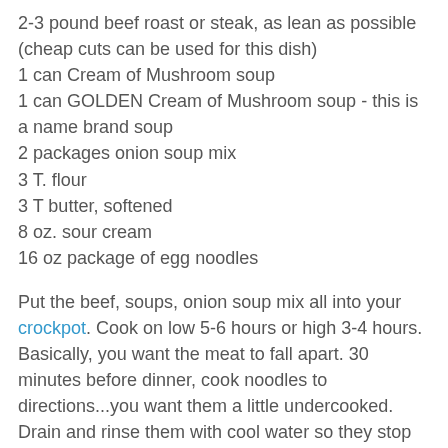2-3 pound beef roast or steak, as lean as possible (cheap cuts can be used for this dish)
1 can Cream of Mushroom soup
1 can GOLDEN Cream of Mushroom soup - this is a name brand soup
2 packages onion soup mix
3 T. flour
3 T butter, softened
8 oz. sour cream
16 oz package of egg noodles
Put the beef, soups, onion soup mix all into your crockpot. Cook on low 5-6 hours or high 3-4 hours. Basically, you want the meat to fall apart. 30 minutes before dinner, cook noodles to directions...you want them a little undercooked. Drain and rinse them with cool water so they stop the cooking process.
Make a paste with the butter and flour, set aside. Remove the meat and shred it and toss with noodles, set aside. Now using a whisk, mix up the stuff in the crockpot and add the butter/flour mixture and mix it together well. Now add the